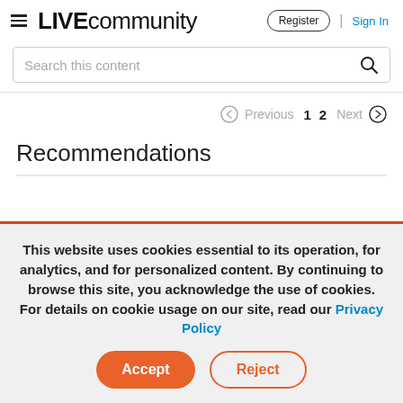LIVE community  Register | Sign In
Search this content
Previous 1 2 Next
Recommendations
This website uses cookies essential to its operation, for analytics, and for personalized content. By continuing to browse this site, you acknowledge the use of cookies. For details on cookie usage on our site, read our Privacy Policy
Accept  Reject